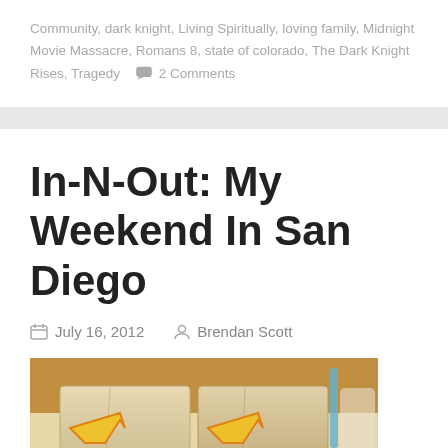Community, dark knight, Living Spiritually, loving family, Midnight Movie Massacre, Romans 8, state of colorado, The Dark Knight Rises, Tragedy   💬 2 Comments
In-N-Out: My Weekend In San Diego
July 16, 2012   Brendan Scott
[Figure (photo): Photo of two In-N-Out burger bags with the In-N-Out arrow logo visible, along with what appears to be food items]